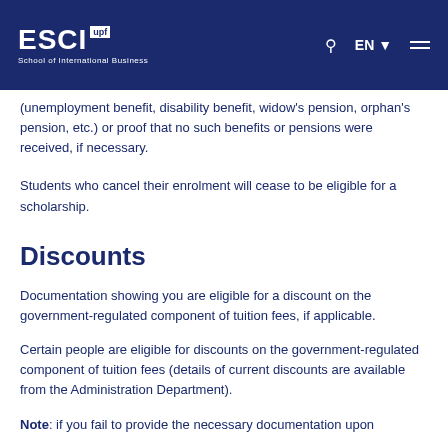ESCI upf School of International Business — EN
(unemployment benefit, disability benefit, widow's pension, orphan's pension, etc.) or proof that no such benefits or pensions were received, if necessary.
Students who cancel their enrolment will cease to be eligible for a scholarship.
Discounts
Documentation showing you are eligible for a discount on the government-regulated component of tuition fees, if applicable.
Certain people are eligible for discounts on the government-regulated component of tuition fees (details of current discounts are available from the Administration Department).
Note: if you fail to provide the necessary documentation upon